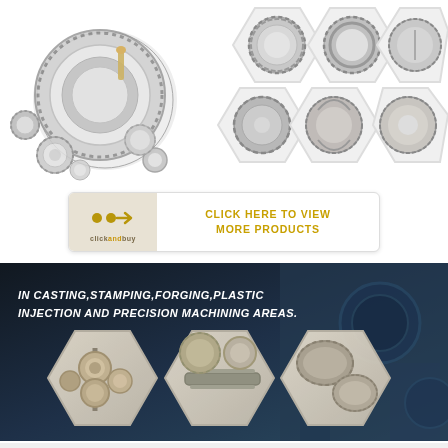[Figure (photo): Collection of various metal gears and mechanical parts on white background, including spur gears, ring gears, bevel gears of various sizes]
[Figure (photo): Multiple hexagon-framed images of individual gears including ring gears, bevel gears, and spur gears]
[Figure (infographic): Click and buy button with arrow icon and text 'CLICK HERE TO VIEW MORE PRODUCTS' in gold/amber color]
[Figure (photo): Dark industrial banner with three hexagonal frames containing photos of mechanical gear assemblies - shaft with bearings, gear shaft assembly, and bevel gear set. Text reads IN CASTING,STAMPING,FORGING,PLASTIC INJECTION AND PRECISION MACHINING AREAS.]
[Figure (photo): Bottom section showing partial view of a large ring gear on left and a small spiral bevel gear on right, on white background]